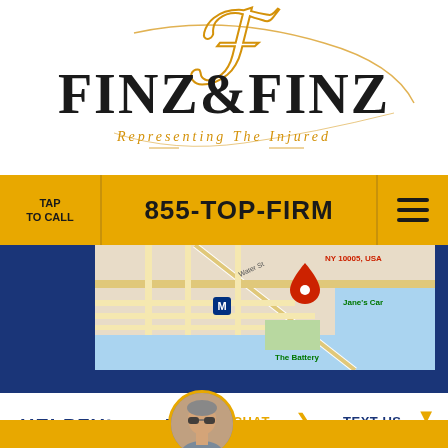[Figure (logo): Finz & Finz law firm logo with gold script F and serif text, tagline 'Representing The Injured']
TAP
TO CALL
855-TOP-FIRM
[Figure (map): Google Maps screenshot showing lower Manhattan area near NY 10005, USA, with The Battery and Jane's Carousel visible]
HELPFUL LINKS
[Figure (photo): Circular avatar photo of attorney in sunglasses]
LIVE CHAT
TEXT US